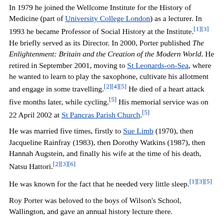In 1979 he joined the Wellcome Institute for the History of Medicine (part of University College London) as a lecturer. In 1993 he became Professor of Social History at the Institute.[1][3] He briefly served as its Director. In 2000, Porter published The Enlightenment: Britain and the Creation of the Modern World. He retired in September 2001, moving to St Leonards-on-Sea, where he wanted to learn to play the saxophone, cultivate his allotment and engage in some travelling.[2][4][5] He died of a heart attack five months later, while cycling.[5] His memorial service was on 22 April 2002 at St Pancras Parish Church.[5]
He was married five times, firstly to Sue Limb (1970), then Jacqueline Rainfray (1983), then Dorothy Watkins (1987), then Hannah Augstein, and finally his wife at the time of his death, Natsu Hattori.[2][3][6]
He was known for the fact that he needed very little sleep.[1][3][5]
Roy Porter was beloved to the boys of Wilson's School, Wallington, and gave an annual history lecture there.
Media appearances